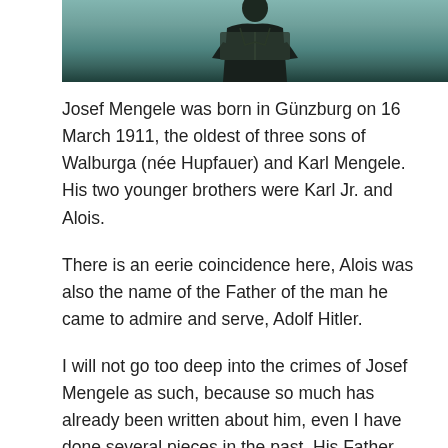[Figure (photo): Black and white cropped photograph showing a person from mid-torso up, appearing to be reading or holding something, with a teal/green tinted overlay.]
Josef Mengele was born in Günzburg on 16 March 1911, the oldest of three sons of Walburga (née Hupfauer) and Karl Mengele. His two younger brothers were Karl Jr. and Alois.
There is an eerie coincidence here, Alois was also the name of the Father of the man he came to admire and serve, Adolf Hitler.
I will not go too deep into the crimes of Josef Mengele as such, because so much has already been written about him, even I have done several pieces in the past. His Father Karl Mengele, a prosperous manufacturer of farming implements. In 1935 Josef got a PhD in physical anthropology at the University of Munich. He also held a doctoral degree in genetic medicine.